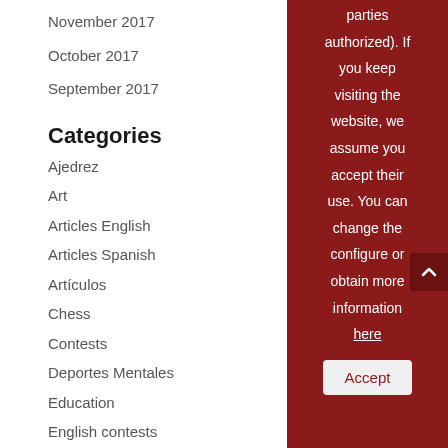November 2017
October 2017
September 2017
Categories
Ajedrez
Art
Articles English
Articles Spanish
Artículos
Chess
Contests
Deportes Mentales
Education
English contests
parties authorized). If you keep visiting the website, we assume you accept their use. You can change the configure or obtain more information here
Accept